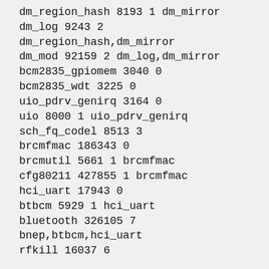dm_region_hash 8193 1 dm_mirror
dm_log 9243 2
dm_region_hash,dm_mirror
dm_mod 92159 2 dm_log,dm_mirror
bcm2835_gpiomem 3040 0
bcm2835_wdt 3225 0
uio_pdrv_genirq 3164 0
uio 8000 1 uio_pdrv_genirq
sch_fq_codel 8513 3
brcmfmac 186343 0
brcmutil 5661 1 brcmfmac
cfg80211 427855 1 brcmfmac
hci_uart 17943 0
btbcm 5929 1 hci_uart
bluetooth 326105 7
bnep,btbcm,hci_uart
rfkill 16037 6